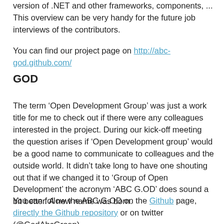version of .NET and other frameworks, components, ... This overview can be very handy for the future job interviews of the contributors.
You can find our project page on http://abc-god.github.com/
GOD
The term ‘Open Development Group’ was just a work title for me to check out if there were any colleagues interested in the project. During our kick-off meeting the question arises if ‘Open Development group’ would be a good name to communicate to colleagues and the outside world. It didn’t take long to have one shouting out that if we changed it to ‘Group of Open Development’ the acronym ‘ABC G.OD’ does sound a bit better. A new name was born.
You can follow the ABC G.OD on the Github page, directly the Github repository or on twitter (@GodAbcGroep).